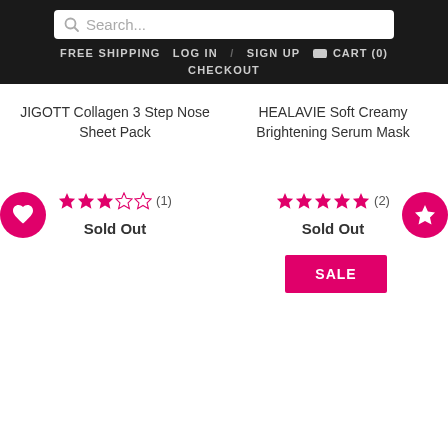Search... FREE SHIPPING LOG IN / SIGN UP CART (0) CHECKOUT
JIGOTT Collagen 3 Step Nose Sheet Pack
★★★☆☆ (1)
Sold Out
HEALAVIE Soft Creamy Brightening Serum Mask
★★★★★ (2)
Sold Out
SALE